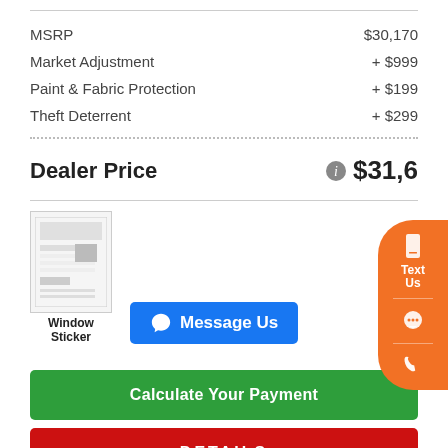| Item | Price |
| --- | --- |
| MSRP | $30,170 |
| Market Adjustment | + $999 |
| Paint & Fabric Protection | + $199 |
| Theft Deterrent | + $299 |
Dealer Price   $31,6XX
[Figure (screenshot): Window Sticker thumbnail image]
Window Sticker
Message Us
Calculate Your Payment
DETAILS